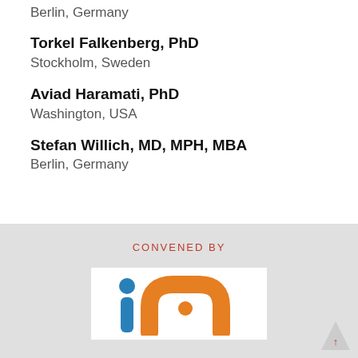Berlin, Germany
Torkel Falkenberg, PhD
Stockholm, Sweden
Aviad Haramati, PhD
Washington, USA
Stefan Willich, MD, MPH, MBA
Berlin, Germany
CONVENED BY
[Figure (logo): Logo with blue dot and orange letter 'n' shape, representing an organization abbreviated 'in']